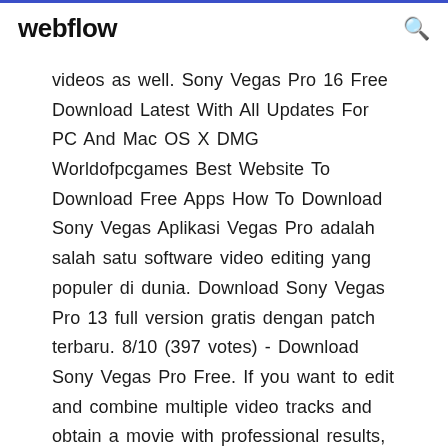webflow
videos as well. Sony Vegas Pro 16 Free Download Latest With All Updates For PC And Mac OS X DMG Worldofpcgames Best Website To Download Free Apps How To Download Sony Vegas Aplikasi Vegas Pro adalah salah satu software video editing yang populer di dunia. Download Sony Vegas Pro 13 full version gratis dengan patch terbaru. 8/10 (397 votes) - Download Sony Vegas Pro Free. If you want to edit and combine multiple video tracks and obtain a movie with professional results, Sony Vegas Pro is definitely one of your best options. Sony Vegas Pro 13 adalah software aplikasi untuk mengedit video jadi keren di Youtube, dan membuat video jadi keren dan menarik perhatian.